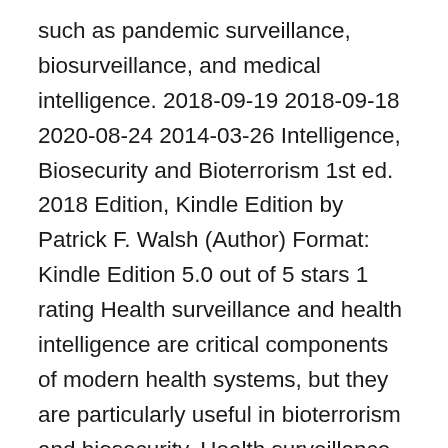such as pandemic surveillance, biosurveillance, and medical intelligence. 2018-09-19 2018-09-18 2020-08-24 2014-03-26 Intelligence, Biosecurity and Bioterrorism 1st ed. 2018 Edition, Kindle Edition by Patrick F. Walsh (Author) Format: Kindle Edition 5.0 out of 5 stars 1 rating Health surveillance and health intelligence are critical components of modern health systems, but they are particularly useful in bioterrorism and biosecurity. Health surveillance refers to the deliberate process of collecting epidemiological and other data of relevance from health systems, populations, media and various other informal sources. 2002-08-06 He is the author of Intelligence and Intelligence Analysis, Routledge, UK 2011; Intelligence, Biosecurity and Bioterrorism, Palgrave Macmillan, UK, 2018; and the forthcoming, Intelligence Leadership and